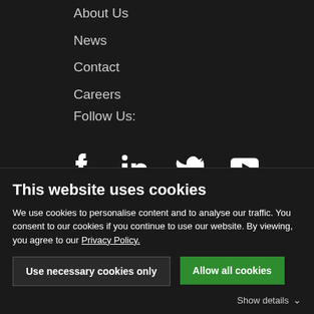About Us
News
Contact
Careers
Follow Us:
[Figure (infographic): Social media icons: Facebook, LinkedIn, Twitter, YouTube]
[Figure (infographic): Hamburger menu icon (three green horizontal lines)]
This website uses cookies
We use cookies to personalise content and to analyse our traffic. You consent to our cookies if you continue to use our website. By viewing, you agree to our Privacy Policy.
Use necessary cookies only
Allow all cookies
Show details